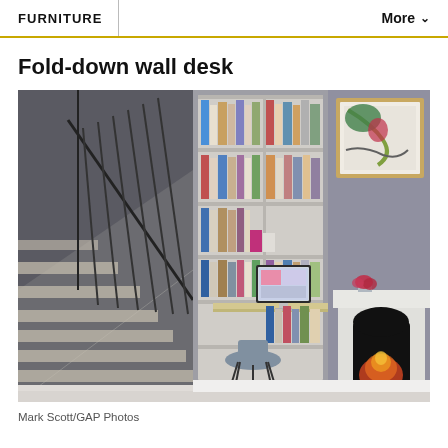FURNITURE    More
Fold-down wall desk
[Figure (photo): Interior photo showing a fold-down wall desk built into a bookshelf alcove beside a staircase, with an iMac computer on the desk and a chair in front. To the right is a white fireplace mantel with a lit fire and a framed artwork on the wall above it. The room has grey walls and white trim.]
Mark Scott/GAP Photos